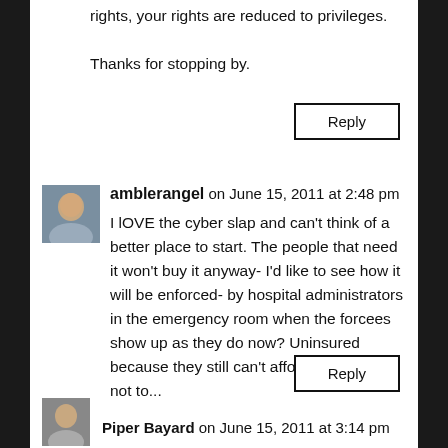rights, your rights are reduced to privileges.
Thanks for stopping by.
Reply
amblerangel on June 15, 2011 at 2:48 pm
I lOVE the cyber slap and can't think of a better place to start. The people that need it won't buy it anyway- I'd like to see how it will be enforced- by hospital administrators in the emergency room when the forcees show up as they do now? Uninsured because they still can't afford it or choose not to...
Reply
Piper Bayard on June 15, 2011 at 3:14 pm